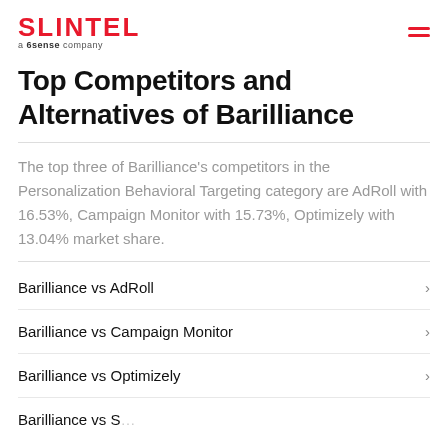SLINTEL a 6sense company
Top Competitors and Alternatives of Barilliance
The top three of Barilliance's competitors in the Personalization Behavioral Targeting category are AdRoll with 16.53%, Campaign Monitor with 15.73%, Optimizely with 13.04% market share.
Barilliance vs AdRoll
Barilliance vs Campaign Monitor
Barilliance vs Optimizely
Barilliance vs S…